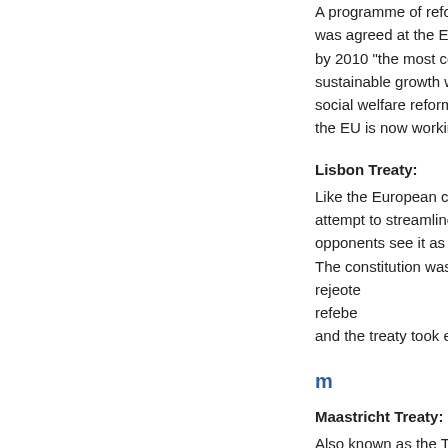A programme of reforms was agreed at the European Council in Lisbon in March 2000, aiming to make by 2010 "the most competitive and dynamic knowledge-based economy in the world, capable of sustainable growth with more and better jobs and greater social cohesion". As part of this agenda, social welfare reforms are envisaged as a long-term priority. Following the 2010 deadline, the EU is now working towards the Europe 2020 Strategy.
Lisbon Treaty:
Like the European constitution, the Lisbon Treaty is an attempt to streamline how the EU operates. However, opponents see it as part of a process of European integration. The constitution was the result of a European Convention and was rejected in referenda in France and the Netherlands. A revised treaty was referred to as the Reform Treaty, was signed in Lisbon in October 2007 and the treaty took effect from 1 December 2009.
m
Maastricht Treaty:
Also known as the Treaty on European Union, signed in Maastricht on 7 February 1992. The Maastricht Treaty was significant because it reflected the serious ambitions of EU member states to move towards political and monetary union.